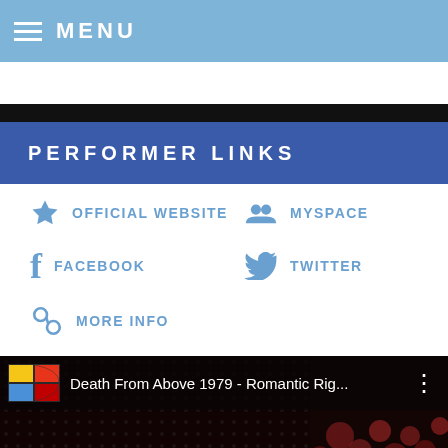MENU
PERFORMER LINKS
OFFICIAL WEBSITE
MYSPACE
FACEBOOK
TWITTER
MORE INFO
[Figure (screenshot): Video thumbnail showing Death From Above 1979 - Romantic Rig... with Atlantic Records logo, dark background with red bokeh lights]